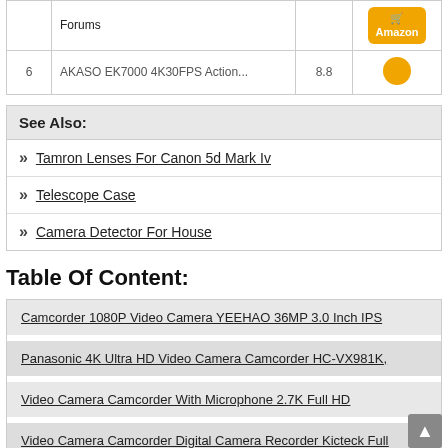| # | Title | Score |  |
| --- | --- | --- | --- |
|  | Forums |  | Amazon |
| 6 | AKASO EK7000 4K30FPS Action... | 8.8 |  |
See Also:
Tamron Lenses For Canon 5d Mark Iv
Telescope Case
Camera Detector For House
Table Of Content:
Camcorder 1080P Video Camera YEEHAO 36MP 3.0 Inch IPS
Panasonic 4K Ultra HD Video Camera Camcorder HC-VX981K,
Video Camera Camcorder With Microphone 2.7K Full HD
Video Camera Camcorder Digital Camera Recorder Kicteck Full
Xoom Forums
AKASO EK7000 4K30FPS Action Camera Ultra HD Underwater